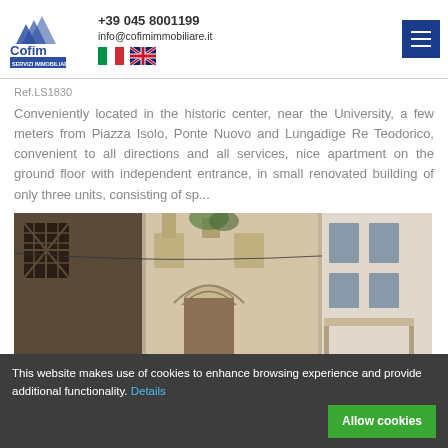Cofim Servizi Immobiliari dal 1978 | +39 045 8001199 | info@cofimimmobiliare.it
Ref.LS1830
Conveniently located in the historic center, near the University, a few meters from Piazza Isolo, Ponte Nuovo and Lungadige Re Teodorico, convenient to all directions and all services, nice apartment on the ground floor with independent entrance, in small renovated building of only three units, consisting of sp...
[Figure (photo): Street-level view of historic Italian building facade with ornate architectural details, diamond-patterned windows on left, and multi-story buildings on right]
This website makes use of cookies to enhance browsing experience and provide additional functionality. Details
Allow cookies